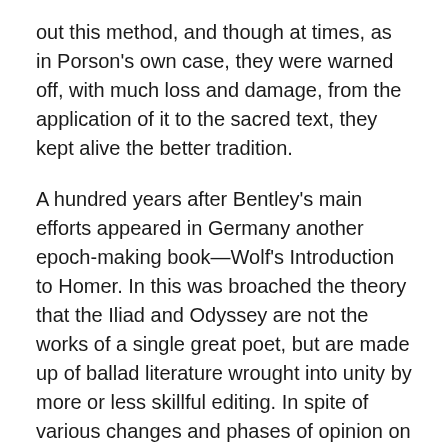out this method, and though at times, as in Porson's own case, they were warned off, with much loss and damage, from the application of it to the sacred text, they kept alive the better tradition.
A hundred years after Bentley's main efforts appeared in Germany another epoch-making book—Wolf's Introduction to Homer. In this was broached the theory that the Iliad and Odyssey are not the works of a single great poet, but are made up of ballad literature wrought into unity by more or less skillful editing. In spite of various changes and phases of opinion on this subject since Wolf's day, he dealt a killing blow at the idea that classical works are necessarily to be taken at what may be termed their face value.
More and more clearly it was seen that the ideas of early copyists and even of early possessors of masterpieces in